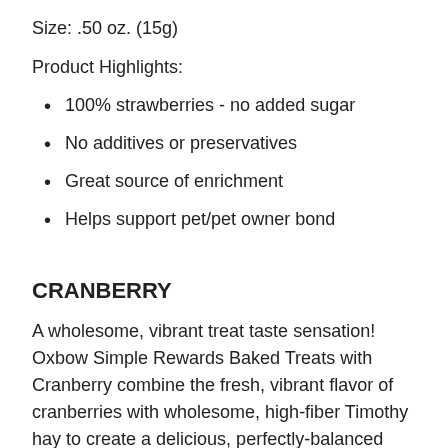Size: .50 oz. (15g)
Product Highlights:
100% strawberries - no added sugar
No additives or preservatives
Great source of enrichment
Helps support pet/pet owner bond
CRANBERRY
A wholesome, vibrant treat taste sensation!  Oxbow Simple Rewards Baked Treats with Cranberry combine the fresh, vibrant flavor of cranberries with wholesome, high-fiber Timothy hay to create a delicious, perfectly-balanced treat rabbits, guinea pigs, chinchillas and other small pets love